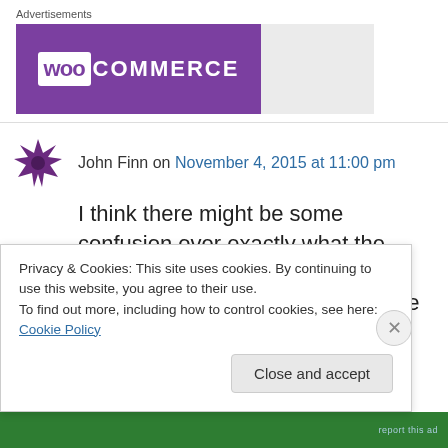Advertisements
[Figure (logo): WooCommerce advertisement banner with purple background and white WooCommerce logo]
John Finn on November 4, 2015 at 11:00 pm
I think there might be some confusion over exactly what the SMB graphic represents. This statement appears on the DMI site
Privacy & Cookies: This site uses cookies. By continuing to use this website, you agree to their use.
To find out more, including how to control cookies, see here: Cookie Policy
Close and accept